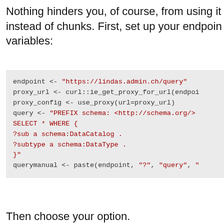Nothing hinders you, of course, from using it instead of chunks. First, set up your endpoint variables:
[Figure (screenshot): Code block showing R code for setting up endpoint, proxy, query variables and querymanual assignment]
Then choose your option.